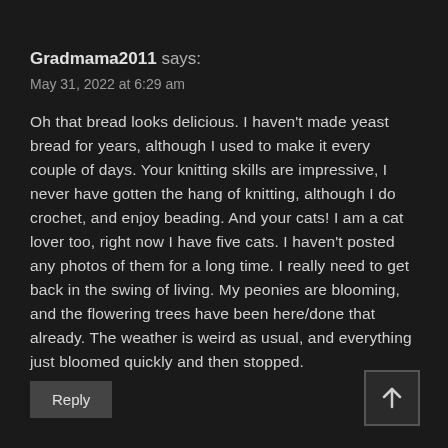Gradmama2011 says:
May 31, 2022 at 6:29 am
Oh that bread looks delicious. I haven't made yeast bread for years, although I used to make it every couple of days. Your knitting skills are impressive, I never have gotten the hang of knitting, although I do crochet, and enjoy beading. And your cats! I am a cat lover too, right now I have five cats. I haven't posted any photos of them for a long time. I really need to get back in the swing of living. My peonies are blooming, and the flowering trees have been here/done that already. The weather is weird as usual, and everything just bloomed quickly and then stopped.
Reply